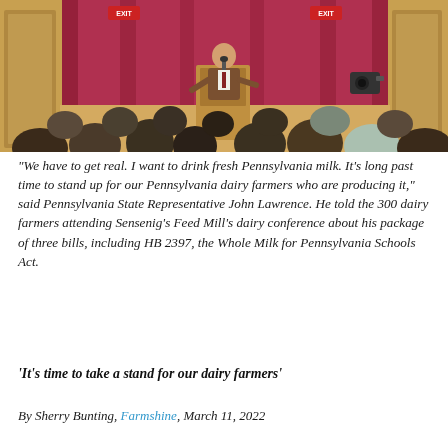[Figure (photo): A man in a brown suit speaks at a podium on a stage with a red curtain backdrop, addressing an audience of approximately 300 dairy farmers seated with their backs to the camera.]
“We have to get real. I want to drink fresh Pennsylvania milk. It’s long past time to stand up for our Pennsylvania dairy farmers who are producing it,” said Pennsylvania State Representative John Lawrence. He told the 300 dairy farmers attending Sensenig’s Feed Mill’s dairy conference about his package of three bills, including HB 2397, the Whole Milk for Pennsylvania Schools Act.
‘It’s time to take a stand for our dairy farmers’
By Sherry Bunting, Farmshine, March 11, 2022